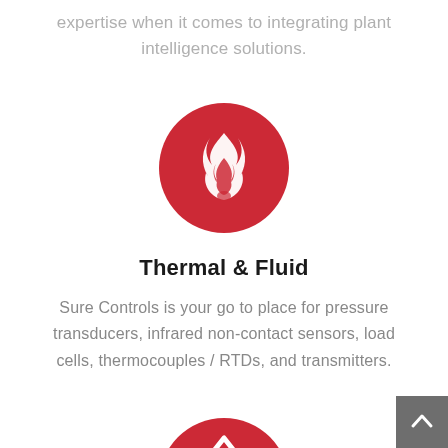expertise when it comes to integrating plant intelligence solutions.
[Figure (illustration): Red circle with white flame icon representing Thermal & Fluid section]
Thermal & Fluid
Sure Controls is your go to place for pressure transducers, infrared non-contact sensors, load cells, thermocouples / RTDs, and transmitters.
[Figure (illustration): Partially visible red circle with white roof/house icon for another section]
[Figure (other): Grey scroll-to-top button with upward arrow in bottom-right corner]